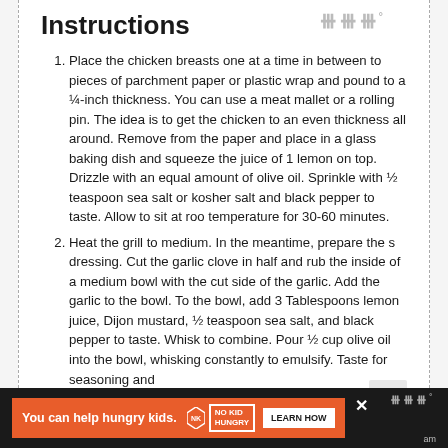[Figure (logo): Watermark symbol resembling three vertical lines with a degree symbol, in light gray]
Instructions
Place the chicken breasts one at a time in between to pieces of parchment paper or plastic wrap and pound to a ¼-inch thickness. You can use a meat mallet or a rolling pin. The idea is to get the chicken to an even thickness all around. Remove from the paper and place in a glass baking dish and squeeze the juice of 1 lemon on top. Drizzle with an equal amount of olive oil. Sprinkle with ½ teaspoon sea salt or kosher salt and black pepper to taste. Allow to sit at room temperature for 30-60 minutes.
Heat the grill to medium. In the meantime, prepare the s dressing. Cut the garlic clove in half and rub the inside of a medium bowl with the cut side of the garlic. Add the garlic to the bowl. To the bowl, add 3 Tablespoons lemon juice, Dijon mustard, ½ teaspoon sea salt, and black pepper to taste. Whisk to combine. Pour ½ cup olive oil into the bowl, whisking constantly to emulsify. Taste for seasoning and
You can help hungry kids. | NO KID HUNGRY | LEARN HOW